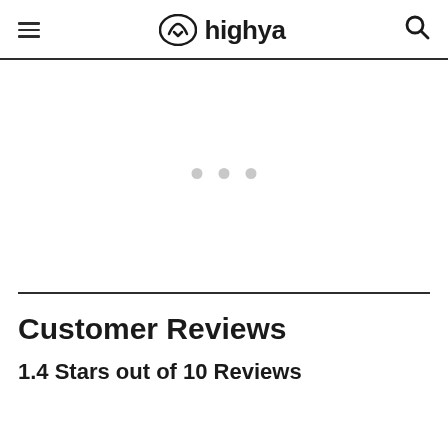highya
[Figure (other): Loading indicator with three grey dots, centered in a white rectangular content area]
Customer Reviews
1.4 Stars out of 10 Reviews